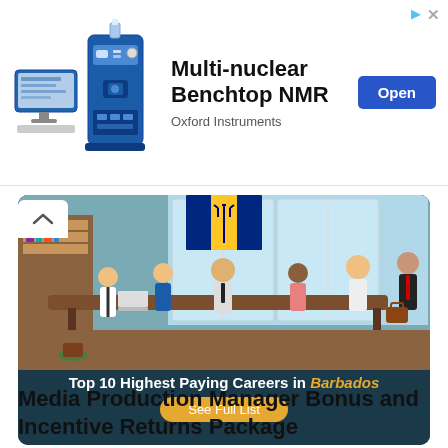[Figure (infographic): Advertisement banner for Oxford Instruments Multi-nuclear Benchtop NMR with product image of instruments on left, bold title text in center, Open button on right.]
[Figure (illustration): Illustrated card showing office workers at a conference table with Barbados flag in background, teal/dark background. Title: Top 10 Highest Paying Careers in Barbados. Button: See Full List.]
Media Production Manager Bonus and Incentive Returns Package